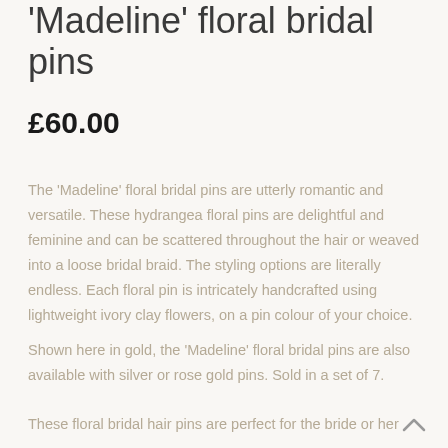'Madeline' floral bridal pins
£60.00
The 'Madeline' floral bridal pins are utterly romantic and versatile.  These hydrangea floral pins are delightful and feminine and can be scattered throughout the hair or weaved into a loose bridal braid. The styling options are literally endless.  Each floral pin is intricately handcrafted using lightweight ivory clay flowers, on a pin colour of your choice.
Shown here in gold, the 'Madeline' floral bridal pins are also available with silver or rose gold pins.  Sold in a set of 7.
These floral bridal hair pins are perfect for the bride or her